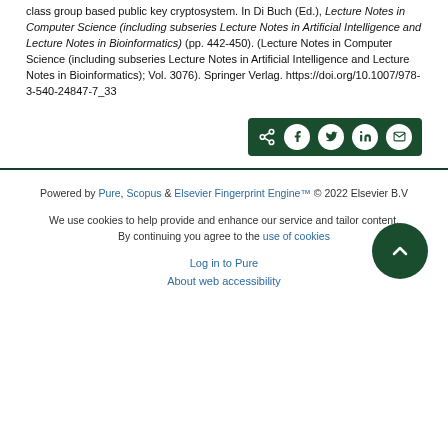class group based public key cryptosystem. In Di Buch (Ed.), Lecture Notes in Computer Science (including subseries Lecture Notes in Artificial Intelligence and Lecture Notes in Bioinformatics) (pp. 442-450). (Lecture Notes in Computer Science (including subseries Lecture Notes in Artificial Intelligence and Lecture Notes in Bioinformatics); Vol. 3076). Springer Verlag. https://doi.org/10.1007/978-3-540-24847-7_33
[Figure (other): Share buttons bar with dark green background containing share icon and social media buttons for Facebook, Twitter, LinkedIn, and email]
Powered by Pure, Scopus & Elsevier Fingerprint Engine™ © 2022 Elsevier B.V

We use cookies to help provide and enhance our service and tailor content. By continuing you agree to the use of cookies

Log in to Pure

About web accessibility